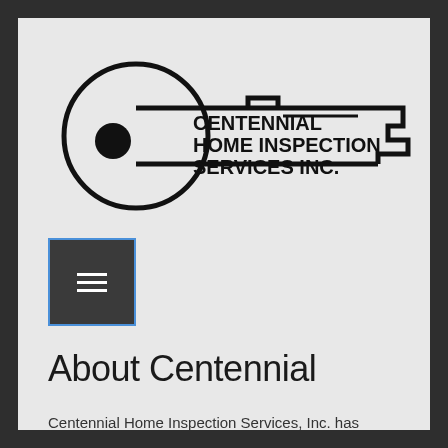[Figure (logo): Centennial Home Inspection Services Inc. logo in the shape of a key outline with text inside reading CENTENNIAL HOME INSPECTION SERVICES INC.]
[Figure (other): Hamburger menu button — dark grey square with blue border containing three white horizontal lines]
About Centennial
Centennial Home Inspection Services, Inc. has established itself as the premier home inspection firm in the Puget Sound area.  Started in 1989, we have performed over 7,500 home